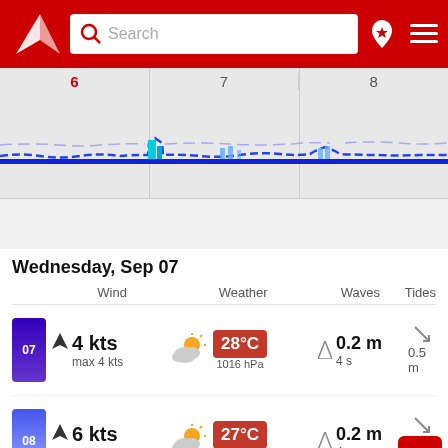[Figure (screenshot): App header with red background, logo, search bar, and navigation icons]
[Figure (continuous-plot): Wind/wave forecast chart showing days 6, 7, 8 with blue wave lines and small bar indicators]
Wednesday, Sep 07
Wind  Weather  Waves  Tides
| Time | Wind | Weather | Temp | Pressure | Waves | Period | Tides |
| --- | --- | --- | --- | --- | --- | --- | --- |
| 07 | 4 kts / max 4 kts | Partly cloudy | 28°C | 1016 hPa | 0.2 m | 4 s | 0.5 m |
| 08 | 6 kts / max 6 kts | Partly cloudy | 27°C | 1016 hPa | 0.2 m | 4 s | 0.5 m |